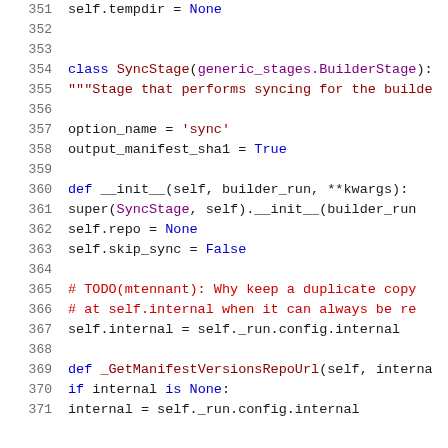351    self.tempdir = None
352
353
354    class SyncStage(generic_stages.BuilderStage):
355      """Stage that performs syncing for the builde
356
357      option_name = 'sync'
358      output_manifest_sha1 = True
359
360      def __init__(self, builder_run, **kwargs):
361        super(SyncStage, self).__init__(builder_run
362        self.repo = None
363        self.skip_sync = False
364
365        # TODO(mtennant): Why keep a duplicate copy
366        # at self.internal when it can always be re
367        self.internal = self._run.config.internal
368
369      def _GetManifestVersionsRepoUrl(self, interna
370        if internal is None:
371          internal = self._run.config.internal